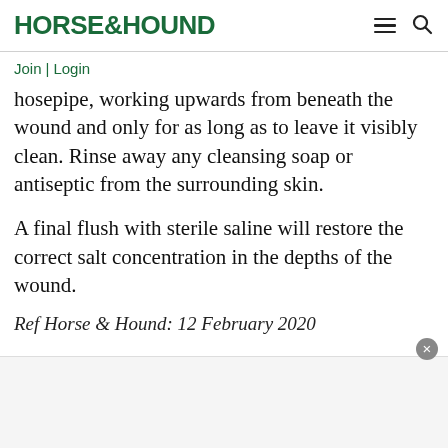HORSE&HOUND
Join | Login
hosepipe, working upwards from beneath the wound and only for as long as to leave it visibly clean. Rinse away any cleansing soap or antiseptic from the surrounding skin.
A final flush with sterile saline will restore the correct salt concentration in the depths of the wound.
Ref Horse & Hound: 12 February 2020